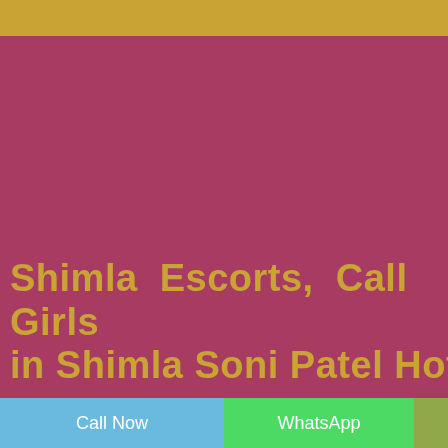[Figure (infographic): Advertisement image with golden top bar, large mauve/pink background area, and golden text at the bottom reading 'Shimla Escorts, Call Girls in Shimla Soni Patel Hotel'. Bottom bar has blue 'Call Now' button, green 'WhatsApp' button, and olive/yellow-green square.]
Shimla Escorts, Call Girls in Shimla Soni Patel Hotel
Call Now | WhatsApp